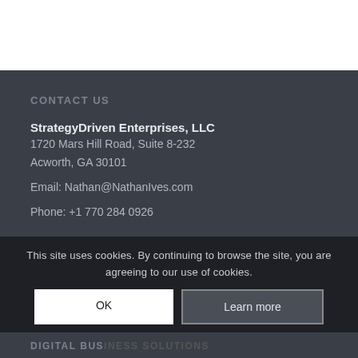CONTACT US
StrategyDriven Enterprises, LLC
1720 Mars Hill Road, Suite 8-232
Acworth, GA 30101

Email: Nathan@NathanIves.com

Phone: +1 770 284 0926
Contact Us
This site uses cookies. By continuing to browse the site, you are agreeing to our use of cookies.
OK
Learn more
DIGITAL BUS...